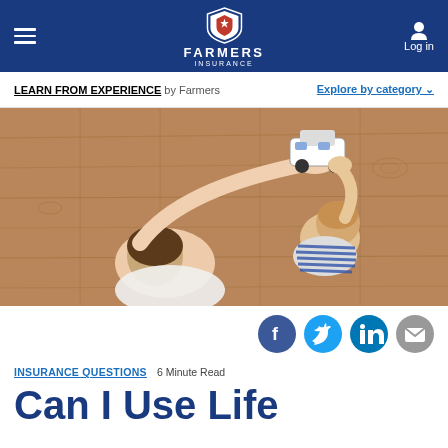Farmers Insurance navigation bar with hamburger menu, Farmers Insurance logo, and Log in button
LEARN FROM EXPERIENCE by Farmers   Explore by category
[Figure (photo): Overhead view of a father and young child lying on a hardwood floor playing with toy cars]
[Figure (infographic): Social sharing icons: Facebook, Twitter, LinkedIn, Email]
INSURANCE QUESTIONS   6 Minute Read
Can I Use Life